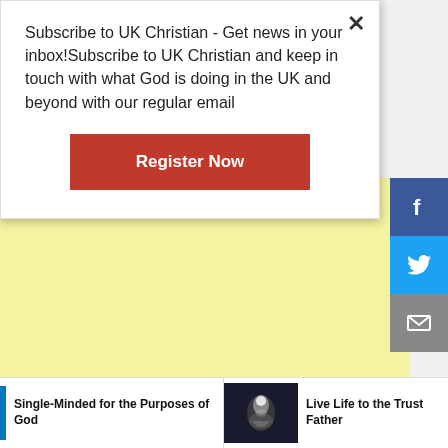Subscribe to UK Christian - Get news in your inbox!Subscribe to UK Christian and keep in touch with what God is doing in the UK and beyond with our regular email
Register Now
[Figure (other): Yellow advertisement area]
[Figure (other): Facebook social share button (blue background with f icon)]
[Figure (other): Twitter social share button (cyan background with bird icon)]
[Figure (other): Email share button (grey background with envelope icon)]
Single-Minded for the Purposes of God
[Figure (photo): Hands photo thumbnail for article Live Life to the Trust Father]
Live Life to the Trust Father